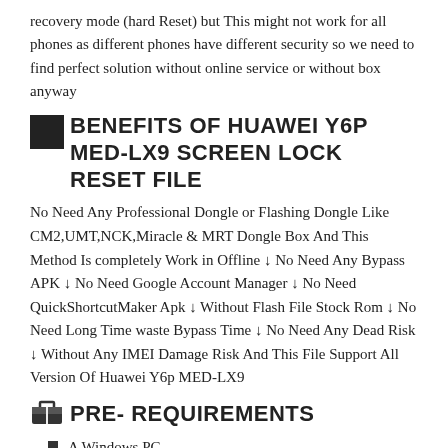recovery mode (hard Reset) but This might not work for all phones as different phones have different security so we need to find perfect solution without online service or without box anyway
BENEFITS OF HUAWEI Y6P MED-LX9 SCREEN LOCK RESET FILE
No Need Any Professional Dongle or Flashing Dongle Like CM2,UMT,NCK,Miracle & MRT Dongle Box And This Method Is completely Work in Offline ↓ No Need Any Bypass APK ↓ No Need Google Account Manager ↓ No Need QuickShortcutMaker Apk ↓ Without Flash File Stock Rom ↓ No Need Long Time waste Bypass Time ↓ No Need Any Dead Risk ↓ Without Any IMEI Damage Risk And This File Support All Version Of Huawei Y6p MED-LX9
PRE- REQUIREMENTS
A Windows PC
Huawei Y6p MED-LX9 Screen File